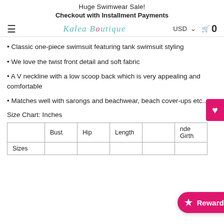Huge Swimwear Sale!
Checkout with Installment Payments
Kalea Boutique | USD | Cart 0
• Classic one-piece swimsuit featuring tank swimsuit styling
• We love the twist front detail and soft fabric
• A V neckline with a low scoop back which is very appealing and comfortable
• Matches well with sarongs and beachwear, beach cover-ups etc...
Size Chart: Inches
|  | Bust | Hip | Length | ... | ...Girth |
| --- | --- | --- | --- | --- | --- |
| Sizes |  |  |  |  |  |